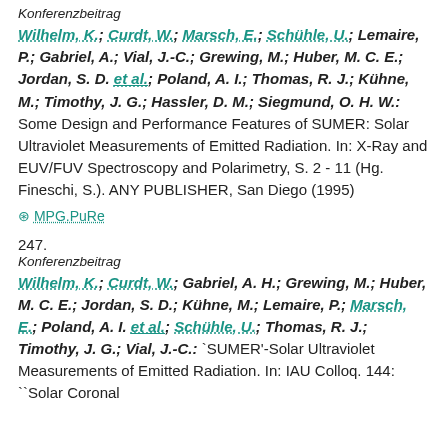Konferenzbeitrag
Wilhelm, K.; Curdt, W.; Marsch, E.; Schühle, U.; Lemaire, P.; Gabriel, A.; Vial, J.-C.; Grewing, M.; Huber, M. C. E.; Jordan, S. D. et al.; Poland, A. I.; Thomas, R. J.; Kühne, M.; Timothy, J. G.; Hassler, D. M.; Siegmund, O. H. W.: Some Design and Performance Features of SUMER: Solar Ultraviolet Measurements of Emitted Radiation. In: X-Ray and EUV/FUV Spectroscopy and Polarimetry, S. 2 - 11 (Hg. Fineschi, S.). ANY PUBLISHER, San Diego (1995)
⊘ MPG.PuRe
247.
Konferenzbeitrag
Wilhelm, K.; Curdt, W.; Gabriel, A. H.; Grewing, M.; Huber, M. C. E.; Jordan, S. D.; Kühne, M.; Lemaire, P.; Marsch, E.; Poland, A. I. et al.; Schühle, U.; Thomas, R. J.; Timothy, J. G.; Vial, J.-C.: `SUMER'-Solar Ultraviolet Measurements of Emitted Radiation. In: IAU Colloq. 144: ``Solar Coronal